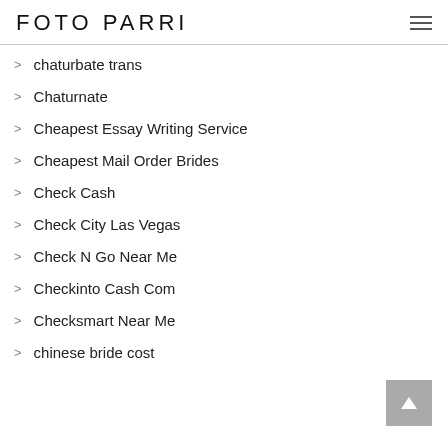FOTO PARRI
chaturbate trans
Chaturnate
Cheapest Essay Writing Service
Cheapest Mail Order Brides
Check Cash
Check City Las Vegas
Check N Go Near Me
Checkinto Cash Com
Checksmart Near Me
chinese bride cost